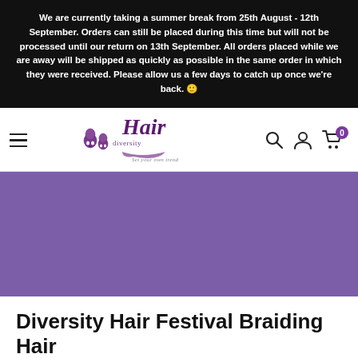We are currently taking a summer break from 25th August - 12th September. Orders can still be placed during this time but will not be processed until our return on 13th September. All orders placed while we are away will be shipped as quickly as possible in the same order in which they were received. Please allow us a few days to catch up once we're back. 🙂
[Figure (logo): Diversity Hair logo with skull decorations and 'Set your own trend' tagline, navigation bar with hamburger menu, search, account and cart (0) icons]
[Figure (photo): Solid purple/mauve hero banner image]
Diversity Hair Festival Braiding Hair